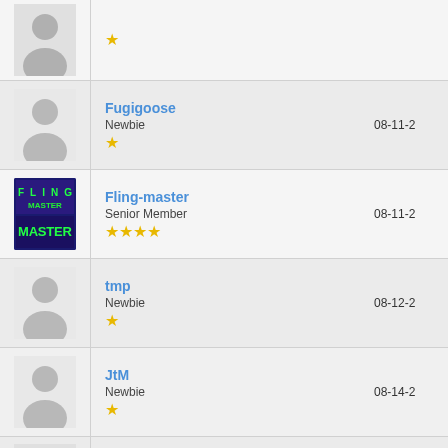| Avatar | User Info | Date |
| --- | --- | --- |
| (avatar) | (no username visible) |  |
| (avatar) | Fugigoose
Newbie
★ | 08-11-2 |
| (fling-master avatar) | Fling-master
Senior Member
★★★★ | 08-11-2 |
| (avatar) | tmp
Newbie
★ | 08-12-2 |
| (avatar) | JtM
Newbie
★ | 08-14-2 |
| (avatar) | M.P.
Newbie
★ | 08-18-2 |